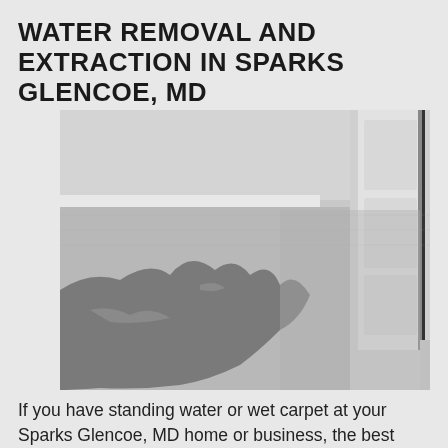WATER REMOVAL AND EXTRACTION IN SPARKS GLENCOE, MD
[Figure (photo): Black and white photograph showing water-soaked carpet in a room with a white door, depicting standing water or flood damage spreading across the floor]
If you have standing water or wet carpet at your Sparks Glencoe, MD home or business, the best thing to do is act fast. Simply waiting it out will